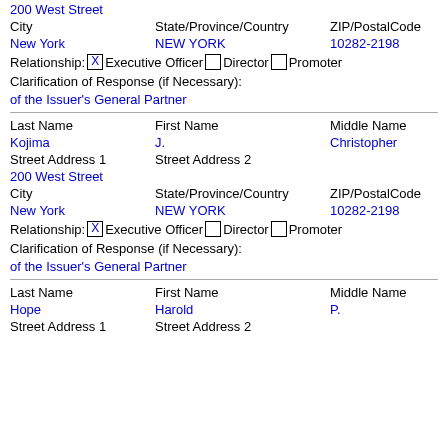200 West Street
City   State/Province/Country   ZIP/PostalCode
New York   NEW YORK   10282-2198
Relationship: [X] Executive Officer [ ] Director [ ] Promoter
Clarification of Response (if Necessary):
of the Issuer's General Partner
Last Name   First Name   Middle Name
Kojima   J.   Christopher
Street Address 1   Street Address 2
200 West Street
City   State/Province/Country   ZIP/PostalCode
New York   NEW YORK   10282-2198
Relationship: [X] Executive Officer [ ] Director [ ] Promoter
Clarification of Response (if Necessary):
of the Issuer's General Partner
Last Name   First Name   Middle Name
Hope   Harold   P.
Street Address 1   Street Address 2